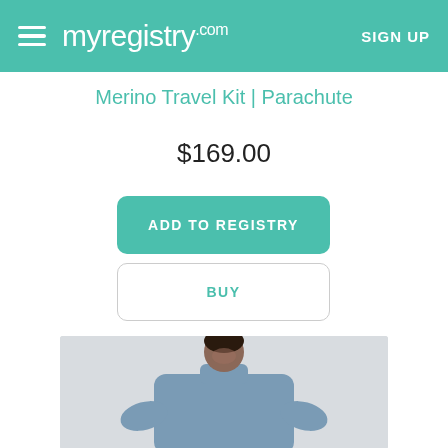myregistry.com  SIGN UP
Merino Travel Kit | Parachute
$169.00
ADD TO REGISTRY
BUY
[Figure (photo): A man wearing a blue/slate-colored crewneck sweatshirt, looking downward, on a light gray background]